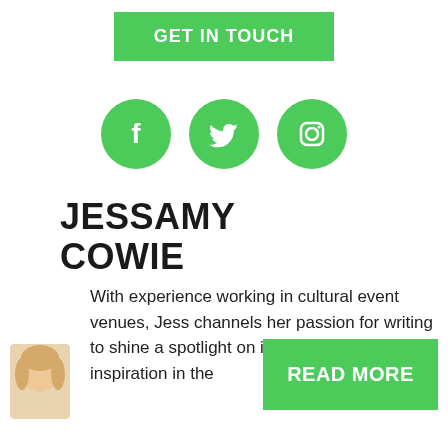GET IN TOUCH
[Figure (illustration): Three green circular social media icons: Facebook, Twitter, Instagram]
JESSAMY COWIE
[Figure (photo): Headshot photo of Jessamy Cowie, a woman with blonde hair]
With experience working in cultural event venues, Jess channels her passion for writing to shine a spotlight on innovation and inspiration in the
READ MORE